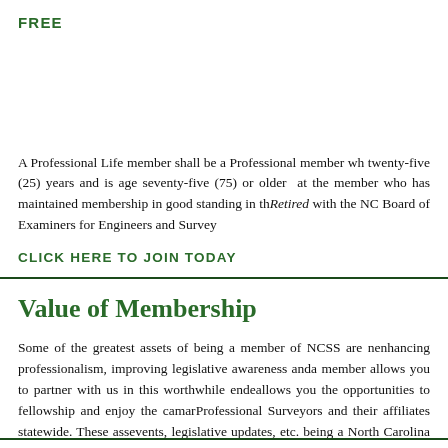FREE
A Professional Life member shall be a Professional member who has been a member for twenty-five (25) years and is age seventy-five (75) or older at the time of application; or a member who has maintained membership in good standing in th... Retired with the NC Board of Examiners for Engineers and Surve...
CLICK HERE TO JOIN TODAY
Value of Membership
Some of the greatest assets of being a member of NCSS are n... enhancing professionalism, improving legislative awareness and... a member allows you to partner with us in this worthwhile ende... allows you the opportunities to fellowship and enjoy the camar... Professional Surveyors and their affiliates statewide. These ass... events, legislative updates, etc. being a North Carolina Society o... now.